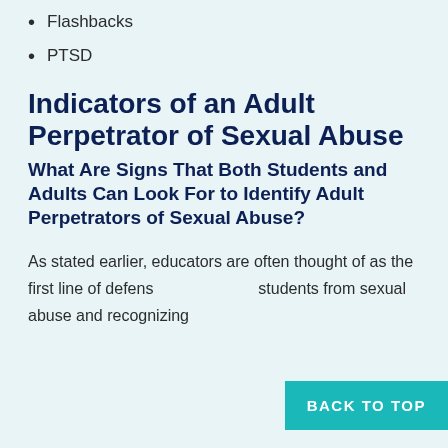Flashbacks
PTSD
Indicators of an Adult Perpetrator of Sexual Abuse
What Are Signs That Both Students and Adults Can Look For to Identify Adult Perpetrators of Sexual Abuse?
As stated earlier, educators are often thought of as the first line of defens… students from sexual abuse and recognizing